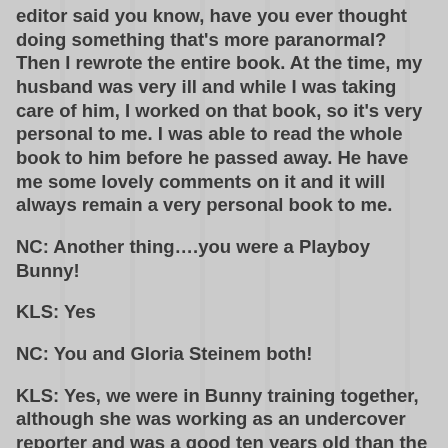editor said you know, have you ever thought doing something that's more paranormal? Then I rewrote the entire book. At the time, my husband was very ill and while I was taking care of him, I worked on that book, so it's very personal to me. I was able to read the whole book to him before he passed away. He have me some lovely comments on it and it will always remain a very personal book to me.
NC: Another thing….you were a Playboy Bunny!
KLS: Yes
NC: You and Gloria Steinem both!
KLS: Yes, we were in Bunny training together, although she was working as an undercover reporter and was a good ten years old than the rest of us.